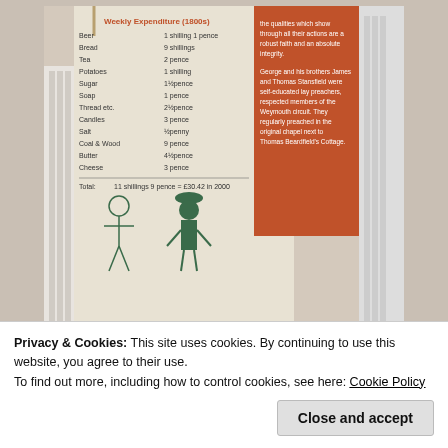[Figure (photo): Photo of a historical printed scroll or banner displaying a list of weekly household expenditures in old British currency (shillings and pence), with an orange printed panel on the right side and an illustrated figure at the bottom center. Items listed include Beer, Bread, Tea, Potatoes, Sugar, Soap, Thread etc., Candles, Salt, Coal & Wood, Butter, Cheese, with prices in shillings and pence. Total: 11 shillings 9 pence = £30.42 in 2000. The banner hangs on a white radiator.]
[Figure (photo): Outdoor photograph showing a pale blue sky with wispy clouds, a rooftop of a building visible in the lower left, green trees on the right, and two hot air balloons visible in the sky.]
Privacy & Cookies: This site uses cookies. By continuing to use this website, you agree to their use.
To find out more, including how to control cookies, see here: Cookie Policy
Close and accept